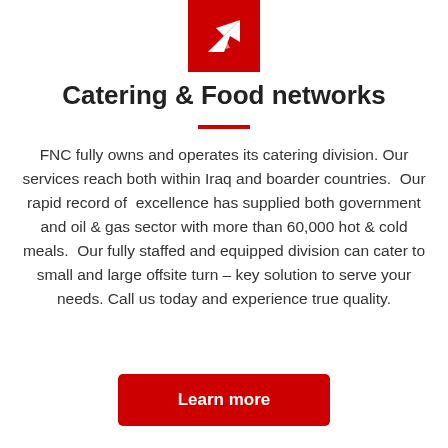[Figure (logo): Red square icon with a white paper airplane / arrow shape pointing upper right]
Catering & Food networks
FNC fully owns and operates its catering division. Our services reach both within Iraq and boarder countries.  Our rapid record of  excellence has supplied both government and oil & gas sector with more than 60,000 hot & cold meals.  Our fully staffed and equipped division can cater to small and large offsite turn – key solution to serve your needs. Call us today and experience true quality.
Learn more